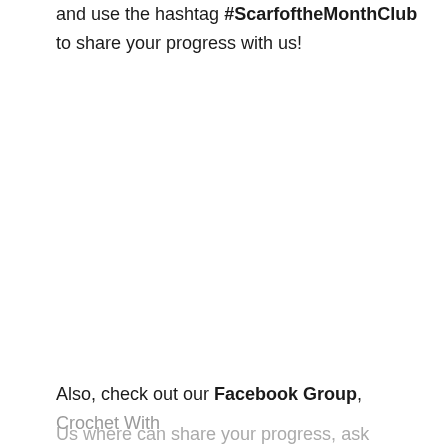@... and, or @... and use the hashtag #ScarfoftheMonthClub to share your progress with us!
Also, check out our Facebook Group, Crochet With Us where can share your progress, ask questions,